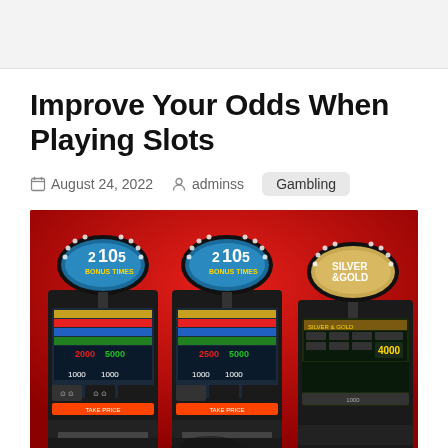Improve Your Odds When Playing Slots
August 24, 2022  adminss  Gambling
[Figure (photo): Three slot machines with colorful displays against a red background. The first two show 'Bonus Times' and the third shows 'Silver & Gold'. The machines display various payout tables and amounts including 4000.]